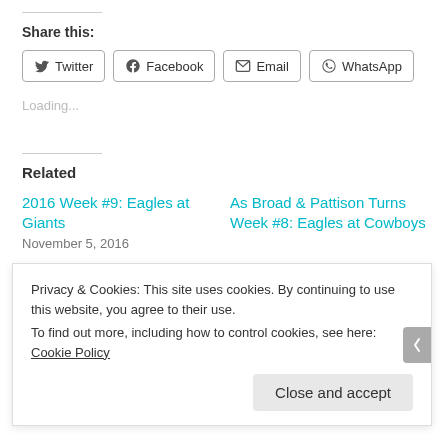Share this:
[Figure (other): Social share buttons: Twitter, Facebook, Email, WhatsApp]
Loading...
Related
2016 Week #9: Eagles at Giants
November 5, 2016
As Broad & Pattison Turns Week #8: Eagles at Cowboys
Privacy & Cookies: This site uses cookies. By continuing to use this website, you agree to their use.
To find out more, including how to control cookies, see here: Cookie Policy